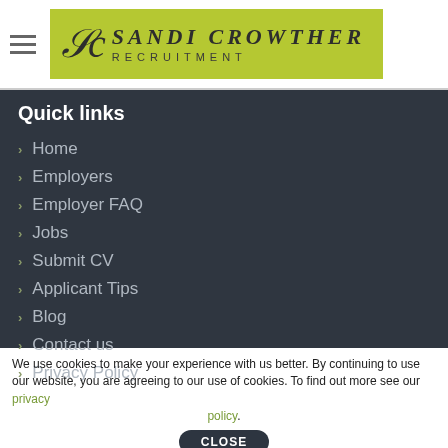Sandi Crowther Recruitment
Quick links
Home
Employers
Employer FAQ
Jobs
Submit CV
Applicant Tips
Blog
Contact us
Privacy Policy
We use cookies to make your experience with us better. By continuing to use our website, you are agreeing to our use of cookies. To find out more see our privacy policy.
CLOSE